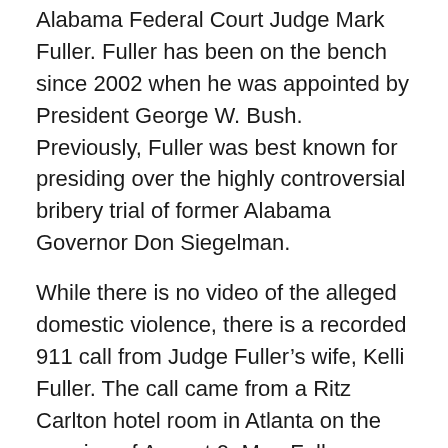Alabama Federal Court Judge Mark Fuller. Fuller has been on the bench since 2002 when he was appointed by President George W. Bush. Previously, Fuller was best known for presiding over the highly controversial bribery trial of former Alabama Governor Don Siegelman.
While there is no video of the alleged domestic violence, there is a recorded 911 call from Judge Fuller’s wife, Kelli Fuller. The call came from a Ritz Carlton hotel room in Atlanta on the evening of August 9. Mrs. Fuller reported that the judge had assaulted her during an argument about her suspicions that the judge had been having an extramarital affair with a law clerk.
In a police report, Mrs. Fuller stated that after she confronted him, the judge pulled her hair, threw her to the ground and kicked her. She also stated that she was